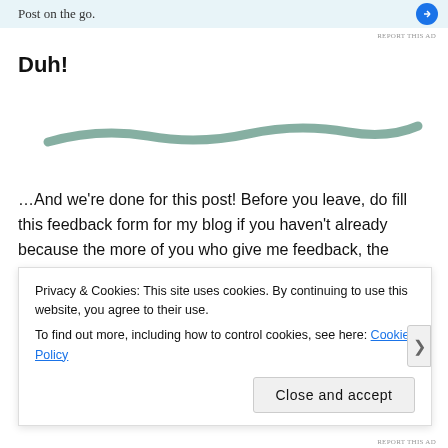Post on the go.
Duh!
[Figure (illustration): A decorative wavy brush stroke divider in teal/sage green color]
…And we’re done for this post! Before you leave, do fill this feedback form for my blog if you haven’t already because the more of you who give me feedback, the better this blog can become! Here’s the link to the form –
https://forms.gle/CYkBa7XUm4bcuIQm8
Privacy & Cookies: This site uses cookies. By continuing to use this website, you agree to their use.
To find out more, including how to control cookies, see here: Cookie Policy